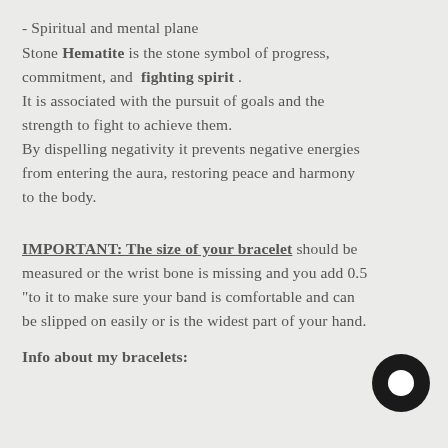- Spiritual and mental plane
Stone Hematite is the stone symbol of progress, commitment, and fighting spirit . It is associated with the pursuit of goals and the strength to fight to achieve them. By dispelling negativity it prevents negative energies from entering the aura, restoring peace and harmony to the body.
IMPORTANT: The size of your bracelet should be measured or the wrist bone is missing and you add 0.5 "to it to make sure your band is comfortable and can be slipped on easily or is the widest part of your hand.
Info about my bracelets: